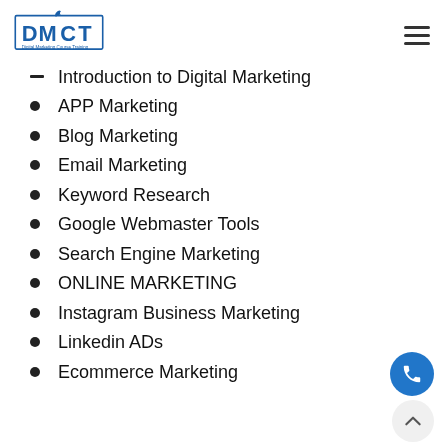DMCT - Digital Marketing Course Training
Introduction to Digital Marketing
APP Marketing
Blog Marketing
Email Marketing
Keyword Research
Google Webmaster Tools
Search Engine Marketing
ONLINE MARKETING
Instagram Business Marketing
Linkedin ADs
Ecommerce Marketing